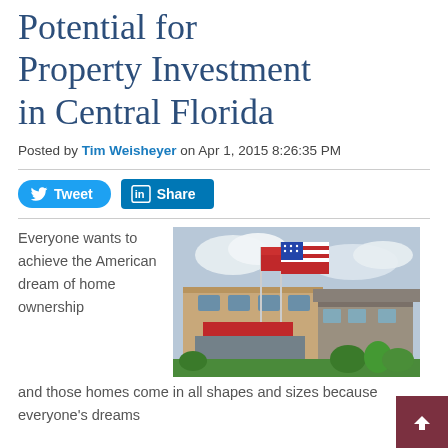Potential for Property Investment in Central Florida
Posted by Tim Weisheyer on Apr 1, 2015 8:26:35 PM
[Figure (other): Twitter Tweet button and LinkedIn Share button]
[Figure (photo): Photo of residential/commercial property in Central Florida with American flag and another red flag on flagpoles, cloudy sky background]
Everyone wants to achieve the American dream of home ownership and those homes come in all shapes and sizes because everyone's dreams